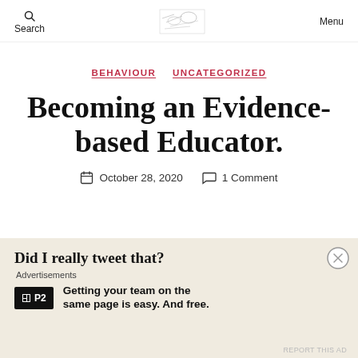Search | Menu
BEHAVIOUR  UNCATEGORIZED
Becoming an Evidence-based Educator.
October 28, 2020   1 Comment
Did I really tweet that?
Advertisements
Getting your team on the same page is easy. And free.